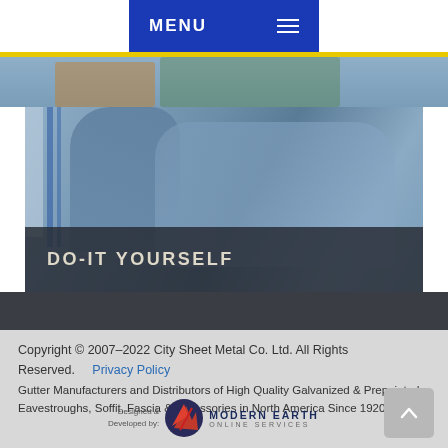MENU
[Figure (photo): Two workers in blue shirts consulting together, shown from the chest up. A dark overlay band at the bottom reads DO-IT YOURSELF in white uppercase letters.]
DO-IT YOURSELF
Copyright © 2007–2022 City Sheet Metal Co. Ltd. All Rights Reserved.   Privacy Policy

Gutter Manufacturers and Distributors of High Quality Galvanized & Prepainted Eavestroughs, Soffit, Fascia & Accessories in North America Since 1920
[Figure (logo): Modern Earth Online Services logo with red arrow icon]